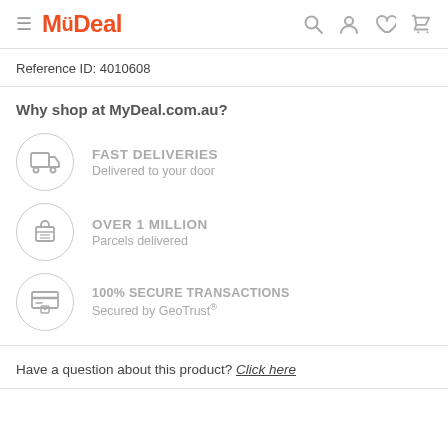MyDeal
Reference ID: 4010608
Why shop at MyDeal.com.au?
FAST DELIVERIES — Delivered to your door
OVER 1 MILLION — Parcels delivered
100% SECURE TRANSACTIONS — Secured by GeoTrust®
Have a question about this product? Click here